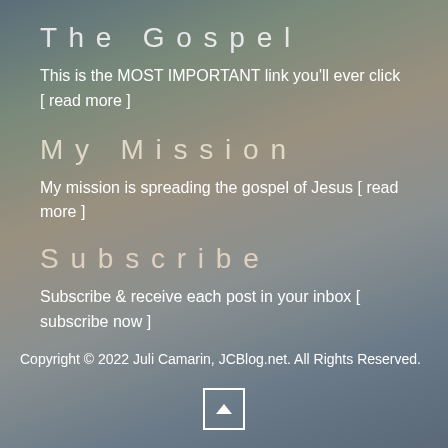The Gospel
This is the MOST IMPORTANT link you'll ever click [ read more ]
My Mission
My mission is spreading the gospel of Jesus [ read more ]
Subscribe
Subscribe & receive each post in your inbox [ subscribe now ]
Copyright © 2022 Juli Camarin, JCBlog.net. All Rights Reserved.
[Figure (other): Back to top button with upward arrow icon]